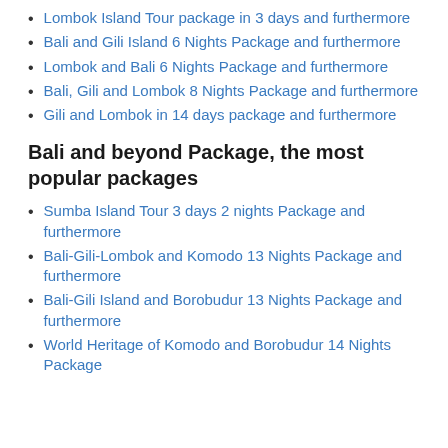Lombok Island Tour package in 3 days and furthermore
Bali and Gili Island 6 Nights Package and furthermore
Lombok and Bali 6 Nights Package and furthermore
Bali, Gili and Lombok 8 Nights Package and furthermore
Gili and Lombok in 14 days package and furthermore
Bali and beyond Package, the most popular packages
Sumba Island Tour 3 days 2 nights Package and furthermore
Bali-Gili-Lombok and Komodo 13 Nights Package and furthermore
Bali-Gili Island and Borobudur 13 Nights Package and furthermore
World Heritage of Komodo and Borobudur 14 Nights Package